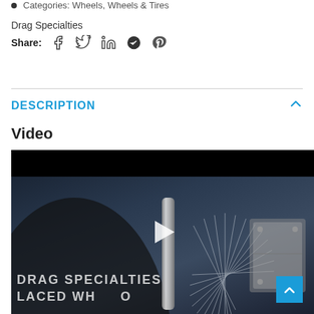Categories: Wheels, Wheels & Tires
Drag Specialties
Share:
DESCRIPTION
Video
[Figure (screenshot): Video thumbnail showing a motorcycle wheel with spokes and brake assembly, with text 'DRAG SPECIALTIES LACED WHEEL' overlaid. A play button is visible in the center and a blue scroll-to-top button in the bottom right corner.]